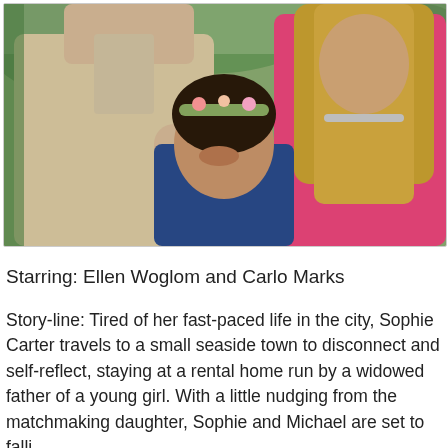[Figure (photo): A man in a light beige button-up shirt, a young girl with dark hair wearing a floral headband in a blue dress, and a woman with long blonde hair in a pink dress, posing together outdoors with green foliage in the background.]
Starring: Ellen Woglom and Carlo Marks
Story-line: Tired of her fast-paced life in the city, Sophie Carter travels to a small seaside town to disconnect and self-reflect, staying at a rental home run by a widowed father of a young girl. With a little nudging from the matchmaking daughter, Sophie and Michael are set to falling...